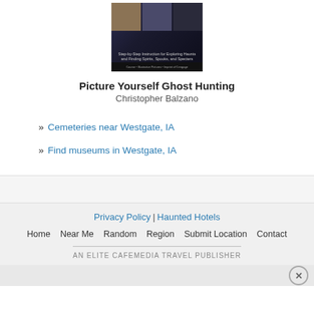[Figure (photo): Book cover for 'Picture Yourself Ghost Hunting' showing dark background with photos at top and subtitle text]
Picture Yourself Ghost Hunting
Christopher Balzano
» Cemeteries near Westgate, IA
» Find museums in Westgate, IA
Privacy Policy | Haunted Hotels
Home   Near Me   Random   Region   Submit Location   Contact
AN ELITE CAFEMEDIA TRAVEL PUBLISHER